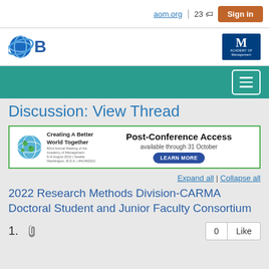aom.org | 23 | Sign in
[Figure (logo): OB globe logo (blue sphere with orbiting rings) and Academy of Management logo (dark blue square with M)]
[Figure (screenshot): Teal navigation bar with hamburger menu button]
Discussion: View Thread
[Figure (infographic): Banner: Creating A Better World Together globe icon with text, Post-Conference Access available through 31 October, LEARN MORE button]
Expand all | Collapse all
2022 Research Methods Division-CARMA Doctoral Student and Junior Faculty Consortium
1. [attachment icon] 0 Like